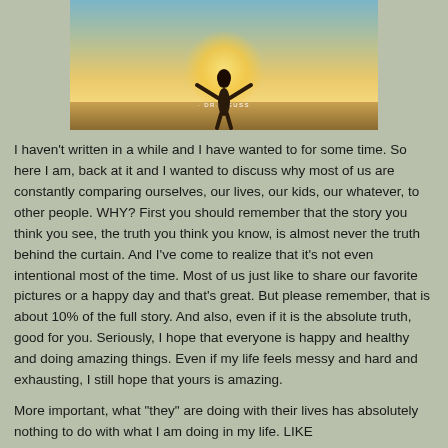[Figure (photo): Inspirational image showing a person silhouette with arms outstretched against a sunset sky, with Dr. Seuss attribution text overlay]
I haven't written in a while and I have wanted to for some time. So here I am, back at it and I wanted to discuss why most of us are constantly comparing ourselves, our lives, our kids, our whatever, to other people. WHY? First you should remember that the story you think you see, the truth you think you know, is almost never the truth behind the curtain. And I've come to realize that it's not even intentional most of the time. Most of us just like to share our favorite pictures or a happy day and that's great. But please remember, that is about 10% of the full story. And also, even if it is the absolute truth, good for you. Seriously, I hope that everyone is happy and healthy and doing amazing things. Even if my life feels messy and hard and exhausting, I still hope that yours is amazing.
More important, what "they" are doing with their lives has absolutely nothing to do with what I am doing in my life. LIKE